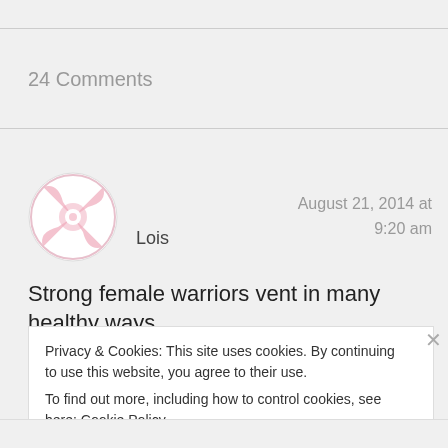24 Comments
Lois
August 21, 2014 at 9:20 am
Strong female warriors vent in many healthy ways,
Privacy & Cookies: This site uses cookies. By continuing to use this website, you agree to their use.
To find out more, including how to control cookies, see here: Cookie Policy
Close and accept